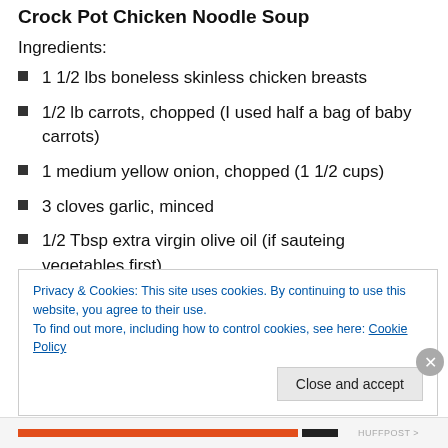Crock Pot Chicken Noodle Soup
Ingredients:
1 1/2 lbs boneless skinless chicken breasts
1/2 lb carrots, chopped (I used half a bag of baby carrots)
1 medium yellow onion, chopped (1 1/2 cups)
3 cloves garlic, minced
1/2 Tbsp extra virgin olive oil (if sauteing vegetables first)
3 – 15 oz cans low-sodium fat-free chicken broth
Privacy & Cookies: This site uses cookies. By continuing to use this website, you agree to their use.
To find out more, including how to control cookies, see here: Cookie Policy